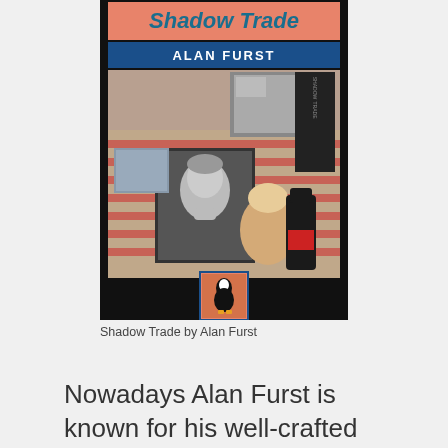[Figure (photo): Book cover of 'Shadow Trade' by Alan Furst. The cover features a salmon/orange banner at the top with 'Shadow Trade' in large teal text, a blue banner below with 'ALAN FURST' in white bold text, and a photograph of items on a striped surface including a framed black-and-white portrait of a man, photographs, a candle or object, and a dark bottle. A small Penguin publisher logo appears at the bottom center of the cover.]
Shadow Trade by Alan Furst
Nowadays Alan Furst is known for his well-crafted and beautifully executed